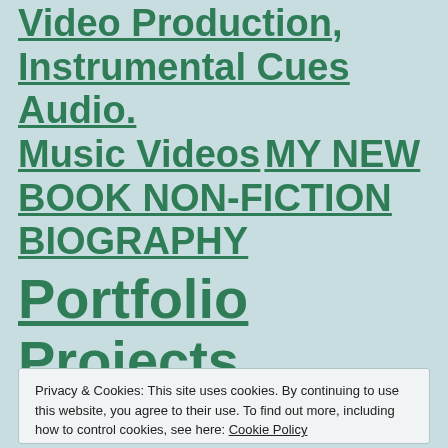Video Production, Instrumental Cues Audio. Music Videos MY NEW BOOK NON-FICTION BIOGRAPHY
Portfolio Projects
Privacy & Cookies: This site uses cookies. By continuing to use this website, you agree to their use. To find out more, including how to control cookies, see here: Cookie Policy
Close and accept